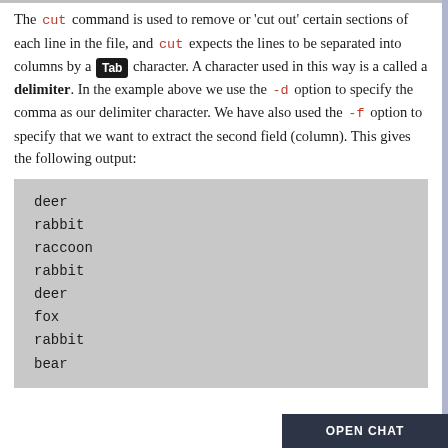The cut command is used to remove or 'cut out' certain sections of each line in the file, and cut expects the lines to be separated into columns by a Tab character. A character used in this way is a called a delimiter. In the example above we use the -d option to specify the comma as our delimiter character. We have also used the -f option to specify that we want to extract the second field (column). This gives the following output:
[Figure (screenshot): Code block output showing: deer, rabbit, raccoon, rabbit, deer, fox, rabbit, bear]